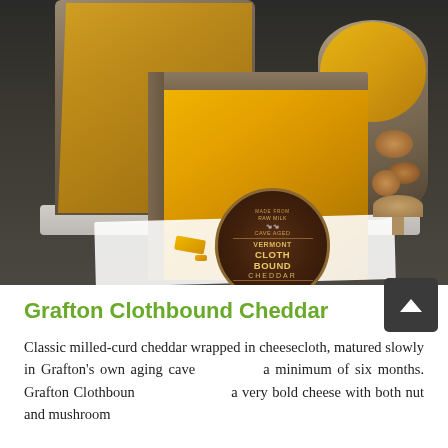[Figure (photo): A block of Grafton Vermont Clothbound Cheddar cheese with a natural gray rind, showing bright yellow interior, with a circular branded label reading VERMONT CLOTHBOUND CHEDDAR, displayed on white paper with mushrooms and nuts in the background.]
Grafton Clothbound Cheddar
Classic milled-curd cheddar wrapped in cheesecloth, matured slowly in Grafton's own aging caves a minimum of six months. Grafton Clothbound delivers a very bold cheese with both nut and mushroom